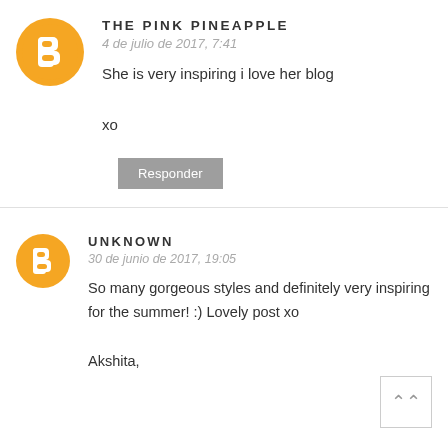[Figure (illustration): Orange Blogger avatar circle icon with white 'B' symbol]
THE PINK PINEAPPLE
4 de julio de 2017, 7:41
She is very inspiring i love her blog

xo
Responder
[Figure (illustration): Orange Blogger avatar circle icon with white 'B' symbol]
UNKNOWN
30 de junio de 2017, 19:05
So many gorgeous styles and definitely very inspiring for the summer! :) Lovely post xo

Akshita,